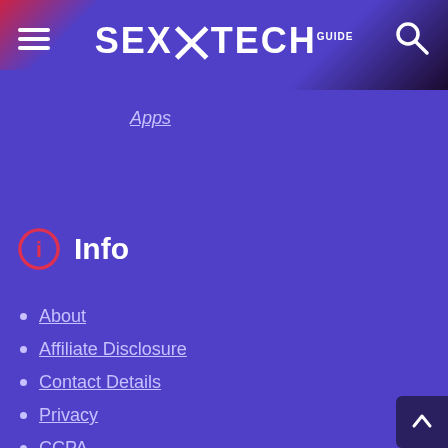SEXTECH GUIDE
Apps
Info
About
Affiliate Disclosure
Contact Details
Privacy
CCPA
Terms
2257 Exemption